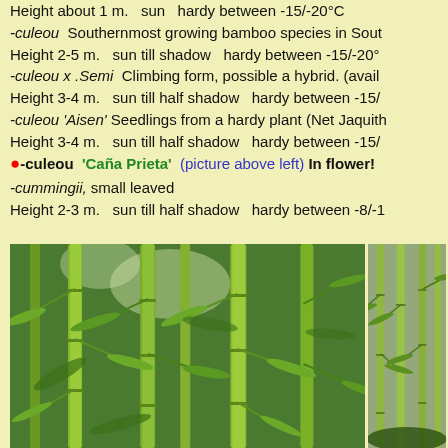Height about 1 m.   sun   hardy between -15/-20°C
-culeou  Southernmost growing bamboo species in Sout...
Height 2-5 m.   sun till shadow   hardy between -15/-20°
-culeou x .Semi  Climbing form, possible a hybrid. (avail...
Height 3-4 m.   sun till half shadow   hardy between -15/...
-culeou 'Aisen'  Seedlings from a hardy plant (Net Jaquith...
Height 3-4 m.   sun till half shadow   hardy between -15/...
●-culeou  'Caña Prieta'  (picture above left)  In flower!
-cummingii, small leaved
Height 2-3 m.   sun till half shadow   hardy between -8/-...
[Figure (photo): Photo of bamboo stems and leaves, green culms with foliage, dense bamboo grove]
[Figure (photo): Photo of tall bamboo culms, lighter colored stems in a forest setting]